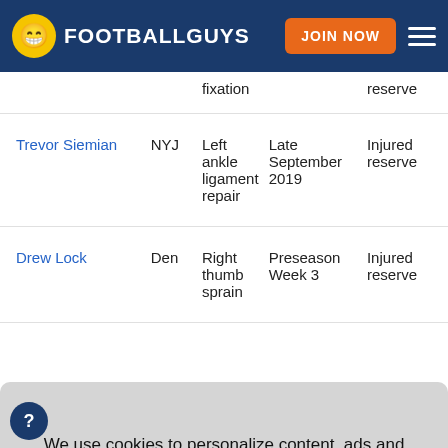FOOTBALLGUYS | JOIN NOW
| Player | Team | Injury | Timeline | Status |
| --- | --- | --- | --- | --- |
|  |  | fixation |  | reserve |
| Trevor Siemian | NYJ | Left ankle ligament repair | Late September 2019 | Injured reserve |
| Drew Lock | Den | Right thumb sprain | Preseason Week 3 | Injured reserve |
|  |  | infection |  |  |
We use cookies to personalize content, ads and analyze site traffic.
Learn More
OKAY